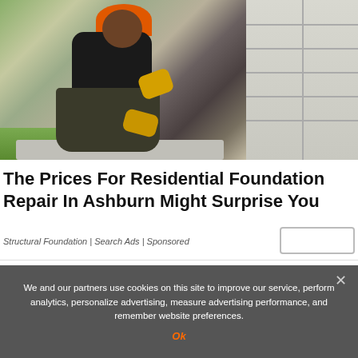[Figure (photo): A construction worker wearing an orange hard hat, black shirt, dark olive pants, and yellow work gloves, kneeling and working on a concrete/cinder block foundation wall outdoors.]
The Prices For Residential Foundation Repair In Ashburn Might Surprise You
Structural Foundation | Search Ads | Sponsored
We and our partners use cookies on this site to improve our service, perform analytics, personalize advertising, measure advertising performance, and remember website preferences.
Ok